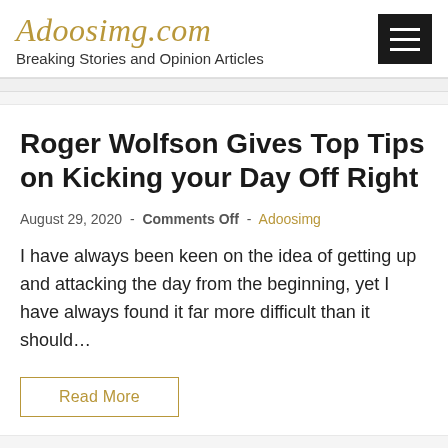Adoosimg.com – Breaking Stories and Opinion Articles
Roger Wolfson Gives Top Tips on Kicking your Day Off Right
August 29, 2020 - Comments Off - Adoosimg
I have always been keen on the idea of getting up and attacking the day from the beginning, yet I have always found it far more difficult than it should…
Read More